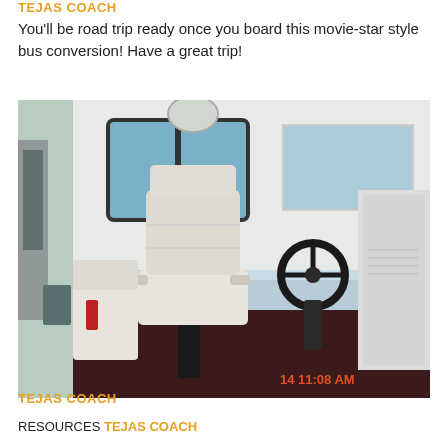TEJAS COACH
You'll be road trip ready once you board this movie-star style bus conversion! Have a great trip!
[Figure (photo): Interior photo of a converted bus showing a white leather captain's chair in the driver's area, a steering wheel visible to the right, large windshield windows, and a dark carpeted floor. A timestamp '14 11:08 AM' appears in the lower right corner.]
TEJAS COACH
RESOURCES TEJAS COACH